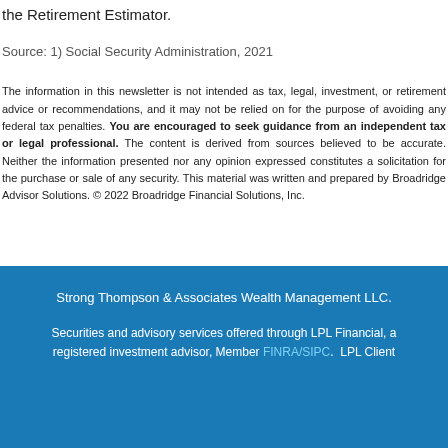the Retirement Estimator.
Source: 1) Social Security Administration, 2021
The information in this newsletter is not intended as tax, legal, investment, or retirement advice or recommendations, and it may not be relied on for the purpose of avoiding any federal tax penalties. You are encouraged to seek guidance from an independent tax or legal professional. The content is derived from sources believed to be accurate. Neither the information presented nor any opinion expressed constitutes a solicitation for the purchase or sale of any security. This material was written and prepared by Broadridge Advisor Solutions. © 2022 Broadridge Financial Solutions, Inc.
Strong Thompson & Associates Wealth Management LLC. Securities and advisory services offered through LPL Financial, a registered investment advisor, Member FINRA/SIPC. LPL Client